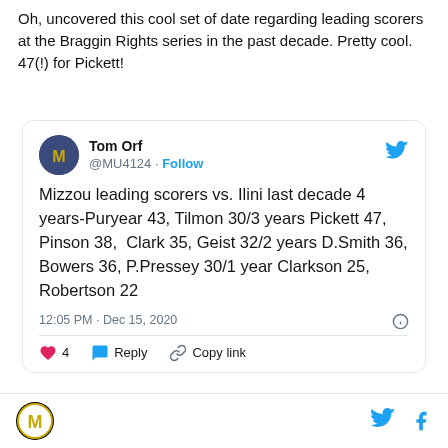Oh, uncovered this cool set of date regarding leading scorers at the Braggin Rights series in the past decade. Pretty cool. 47(!) for Pickett!
[Figure (screenshot): Embedded tweet from @MU4124 (Tom Orf) with text: Mizzou leading scorers vs. Ilini last decade 4 years-Puryear 43, Tilmon 30/3 years Pickett 47, Pinson 38, Clark 35, Geist 32/2 years D.Smith 36, Bowers 36, P.Pressey 30/1 year Clarkson 25, Robertson 22. Timestamp: 12:05 PM · Dec 15, 2020. 4 likes, Reply, Copy link actions shown.]
Mizzou logo, Twitter bird icon, Facebook f icon